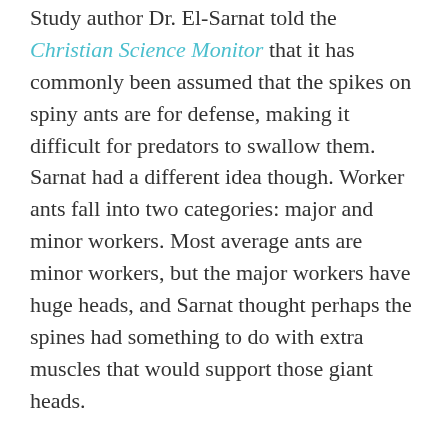Study author Dr. El-Sarnat told the Christian Science Monitor that it has commonly been assumed that the spikes on spiny ants are for defense, making it difficult for predators to swallow them. Sarnat had a different idea though. Worker ants fall into two categories: major and minor workers. Most average ants are minor workers, but the major workers have huge heads, and Sarnat thought perhaps the spines had something to do with extra muscles that would support those giant heads.
The team used tiny CT scans, known as micro CT, to look at the internal structure of the bodies of the ants and made a three-dimensional model. The scans revealed that there was indeed extra muscle tissue in the shoulder spines of the major workers, who